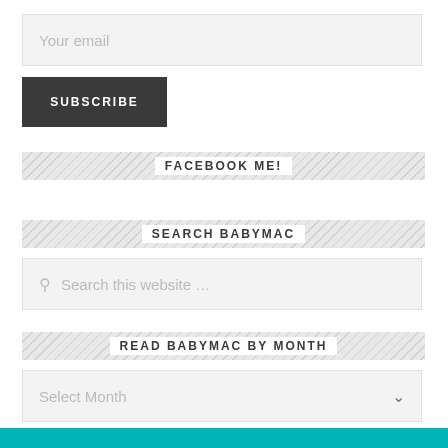Your email
SUBSCRIBE
FACEBOOK ME!
SEARCH BABYMAC
Search this website …
READ BABYMAC BY MONTH
Select Month